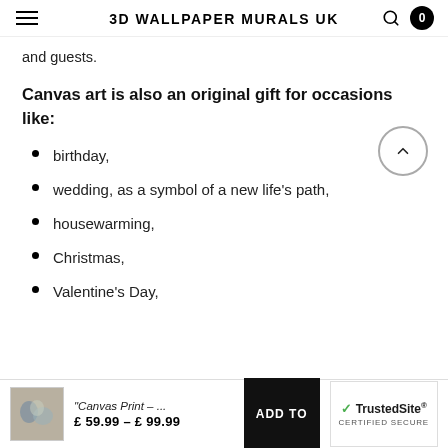3D WALLPAPER MURALS UK
and guests.
Canvas art is also an original gift for occasions like:
birthday,
wedding, as a symbol of a new life's path,
housewarming,
Christmas,
Valentine's Day,
Canvas Print - ... £59.99 – £99.99 ADD TO | TrustedSite CERTIFIED SECURE